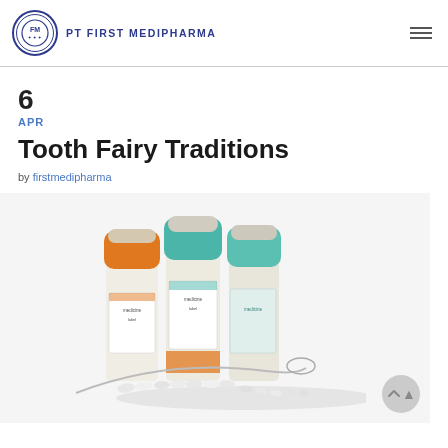PT FIRST MEDIPHARMA
6
APR
Tooth Fairy Traditions
by firstmedipharma
[Figure (photo): Three medicine vials with colored caps (blue and teal) and orange labels, with white pills/capsules on a spoon in the foreground, on a white background]